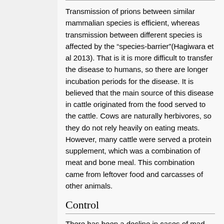Transmission of prions between similar mammalian species is efficient, whereas transmission between different species is affected by the “species-barrier”(Hagiwara et al 2013). That is it is more difficult to transfer the disease to humans, so there are longer incubation periods for the disease. It is believed that the main source of this disease in cattle originated from the food served to the cattle. Cows are naturally herbivores, so they do not rely heavily on eating meats. However, many cattle were served a protein supplement, which was a combination of meat and bone meal. This combination came from leftover food and carcasses of other animals.
Control
There has been a decline in cases of mad cow disease recently due to a ban on feeding cattle meat and bone meat. Besides feeding surveillance, important regulations are important for containing this disease. In